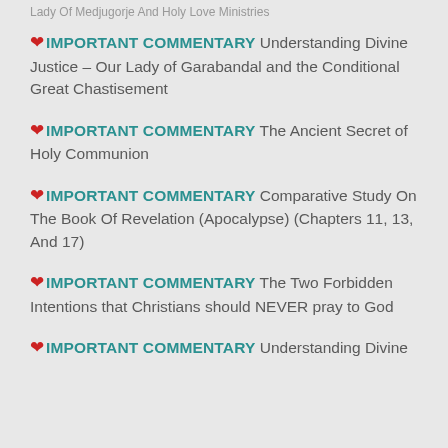Lady Of Medjugorje And Holy Love Ministries
IMPORTANT COMMENTARY Understanding Divine Justice – Our Lady of Garabandal and the Conditional Great Chastisement
IMPORTANT COMMENTARY The Ancient Secret of Holy Communion
IMPORTANT COMMENTARY Comparative Study On The Book Of Revelation (Apocalypse) (Chapters 11, 13, And 17)
IMPORTANT COMMENTARY The Two Forbidden Intentions that Christians should NEVER pray to God
IMPORTANT COMMENTARY Understanding Divine